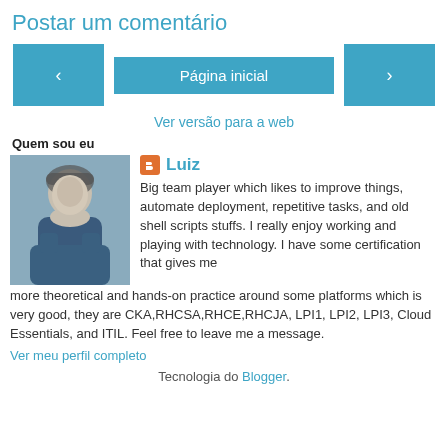Postar um comentário
‹   Página inicial   ›
Ver versão para a web
Quem sou eu
Luiz
Big team player which likes to improve things, automate deployment, repetitive tasks, and old shell scripts stuffs. I really enjoy working and playing with technology. I have some certification that gives me more theoretical and hands-on practice around some platforms which is very good, they are CKA,RHCSA,RHCE,RHCJA, LPI1, LPI2, LPI3, Cloud Essentials, and ITIL. Feel free to leave me a message.
Ver meu perfil completo
Tecnologia do Blogger.